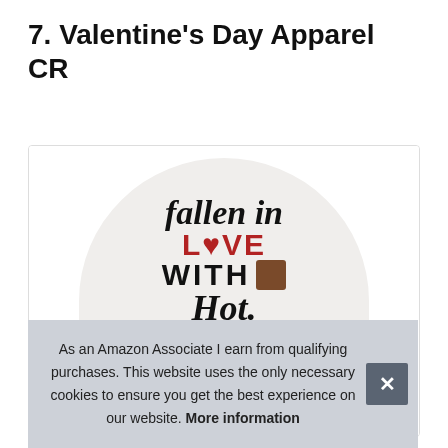7. Valentine's Day Apparel CR
#ad
[Figure (photo): Product image showing a round item (possibly a button/pin or mug) with text reading 'fallen in LOVE WITH HOT' with a coffee cup graphic, displayed on a light gray circular background. The product text uses black cursive for 'fallen in', red bold for 'LOVE', black bold for 'WITH', and cursive for 'HOT'.]
As an Amazon Associate I earn from qualifying purchases. This website uses the only necessary cookies to ensure you get the best experience on our website. More information